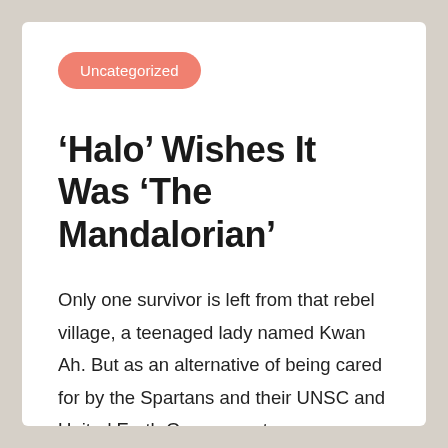Uncategorized
‘Halo’ Wishes It Was ‘The Mandalorian’
Only one survivor is left from that rebel village, a teenaged lady named Kwan Ah. But as an alternative of being cared for by the Spartans and their UNSC and United Earth Government overseers, she's handled as a prisoner. That may end up turning off the franchise's most diehard fans, however it is a more trustworthy illustration of what the UNSC represents. Master Chief quickly learns that he cannot trust his leaders either. After touching an alien artifact, he begins to